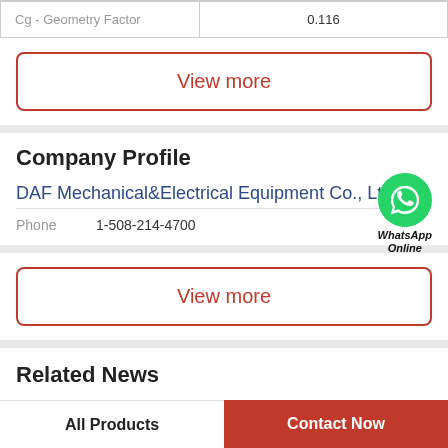|  |  |
| --- | --- |
| Cg - Geometry Factor | 0.116 |
View more
Company Profile
DAF Mechanical&Electrical Equipment Co., Ltd
[Figure (logo): WhatsApp Online green circle icon with phone handset]
Phone   1-508-214-4700
View more
Related News
All Products   Contact Now